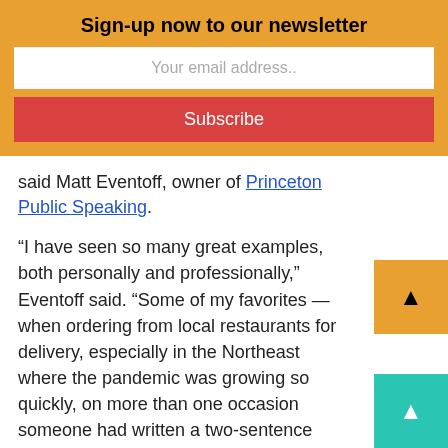Sign-up now to our newsletter
Your email address..
Subscribe
said Matt Eventoff, owner of Princeton Public Speaking.
“I have seen so many great examples, both personally and professionally,” Eventoff said. “Some of my favorites — when ordering from local restaurants for delivery, especially in the Northeast where the pandemic was growing so quickly, on more than one occasion someone had written a two-sentence thank you note. I thought that was very meaningful. I received two calls after having some (very minor) work done on our home to ensure our satisfaction. A bakery we frequent that